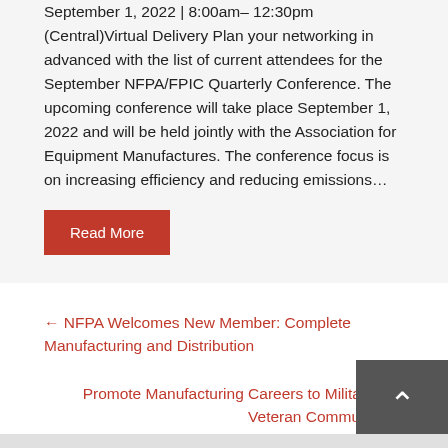September 1, 2022 | 8:00am– 12:30pm (Central)Virtual Delivery Plan your networking in advanced with the list of current attendees for the September NFPA/FPIC Quarterly Conference. The upcoming conference will take place September 1, 2022 and will be held jointly with the Association for Equipment Manufactures. The conference focus is on increasing efficiency and reducing emissions…
Read More
← NFPA Welcomes New Member: Complete Manufacturing and Distribution
Promote Manufacturing Careers to Military and Veteran Community →